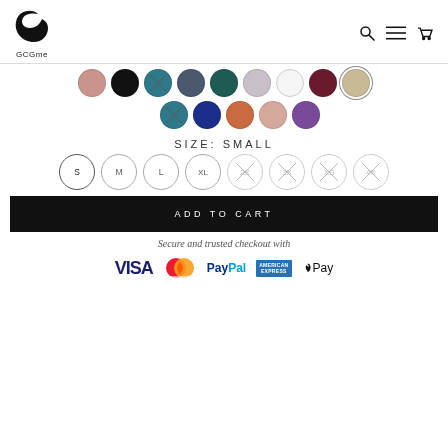[Figure (logo): GCGme logo with crescent moon-like G symbol above text GCGme]
[Figure (infographic): Color swatch selector with 15 color circles, some crossed out indicating unavailable options. Row 1: dusty rose, black, teal-crossed, navy-crossed, dark teal, lavender, white, burgundy, tan. Row 2: teal-crossed, navy blue, terracotta, blush, purple.]
SIZE: SMALL
[Figure (infographic): Size selector with circular buttons: S (selected), M, L, XL, 2X (crossed), 3X (crossed), XS (crossed), 4X (crossed)]
ADD TO CART
Secure and trusted checkout with
[Figure (infographic): Payment logos: VISA, Mastercard, PayPal, American Express, Apple Pay]